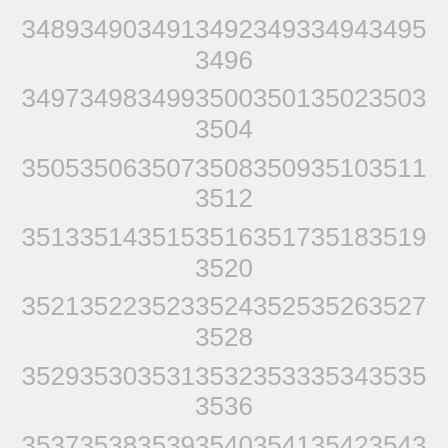3489 3490 3491 3492 3493 3494 3495 3496
3497 3498 3499 3500 3501 3502 3503 3504
3505 3506 3507 3508 3509 3510 3511 3512
3513 3514 3515 3516 3517 3518 3519 3520
3521 3522 3523 3524 3525 3526 3527 3528
3529 3530 3531 3532 3533 3534 3535 3536
3537 3538 3539 3540 3541 3542 3543 3544
3545 3546 3547 3548 3549 3550 3551 3552
3553 3554 3555 3556 3557 3558 3559 3560
3561 3562 3563 3564 3565 3566 3567 3568
3569 3570 3571 3572 3573 3574 3575 3576
3577 3578 3579 3580 3581 3582 3583 3584
3585 3586 3587 3588 3589 3590 3591 3592